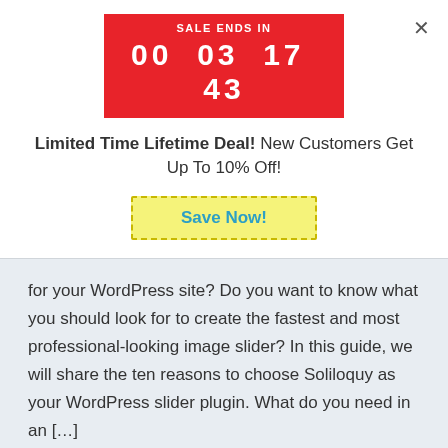[Figure (screenshot): Red sale countdown timer banner showing SALE ENDS IN with digits 00 03 17 43]
Limited Time Lifetime Deal! New Customers Get Up To 10% Off!
Save Now!
for your WordPress site? Do you want to know what you should look for to create the fastest and most professional-looking image slider? In this guide, we will share the ten reasons to choose Soliloquy as your WordPress slider plugin. What do you need in an [...]
Continue Reading >